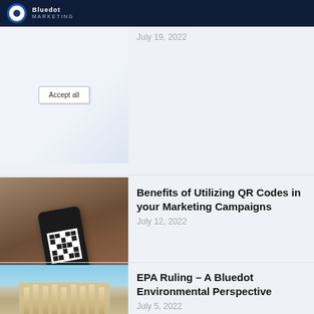Bluedot Marketing
[Figure (photo): Screenshot of a cookie consent dialog with an 'Accept all' button]
July 19, 2022
[Figure (photo): Hands holding a smartphone scanning a QR code on a piece of paper on a wooden table]
Benefits of Utilizing QR Codes in your Marketing Campaigns
July 12, 2022
[Figure (photo): Exterior of a classical courthouse building with columns under a blue sky]
EPA Ruling – A Bluedot Environmental Perspective
July 5, 2022